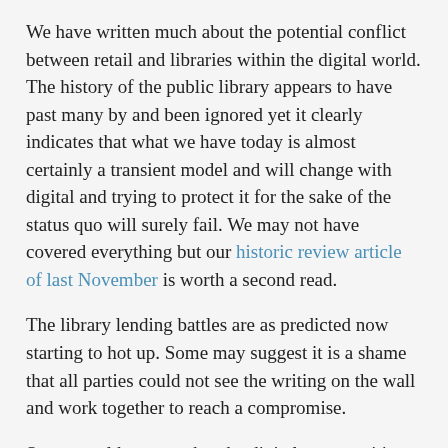We have written much about the potential conflict between retail and libraries within the digital world. The history of the public library appears to have past many by and been ignored yet it clearly indicates that what we have today is almost certainly a transient model and will change with digital and trying to protect it for the sake of the status quo will surely fail. We may not have covered everything but our historic review article of last November is worth a second read.
The library lending battles are as predicted now starting to hot up. Some may suggest it is a shame that all parties could not see the writing on the wall and work together to reach a compromise.
Some would suggest that the digital opportunities should create a renaissance opportunity for libraries and reading but appears that it must obviously be on commercial terms acceptable to the big publishers.
Interestingly, the conflict has come at a time when public libraries are under their greatest threat of closure and are subject to spending cuts. Many, for all over the industry, are manning the barricades to fight the closure, but it would appear that some would